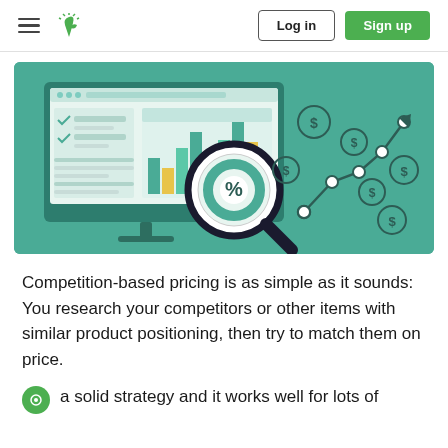Log in | Sign up
[Figure (illustration): A monitor displaying a dashboard with bar charts and a checklist, with a magnifying glass showing a percent symbol, and a line chart with dollar sign coins trending upward to the right, on a teal/green background.]
Competition-based pricing is as simple as it sounds: You research your competitors or other items with similar product positioning, then try to match them on price.
a solid strategy and it works well for lots of